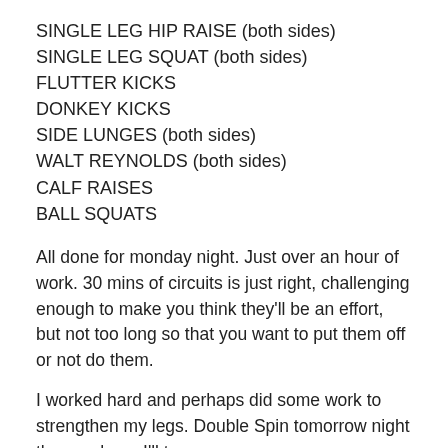SINGLE LEG HIP RAISE (both sides)
SINGLE LEG SQUAT (both sides)
FLUTTER KICKS
DONKEY KICKS
SIDE LUNGES (both sides)
WALT REYNOLDS (both sides)
CALF RAISES
BALL SQUATS
All done for monday night. Just over an hour of work. 30 mins of circuits is just right, challenging enough to make you think they'll be an effort, but not too long so that you want to put them off or not do them.
I worked hard and perhaps did some work to strengthen my legs. Double Spin tomorrow night then perhaps I'll try a